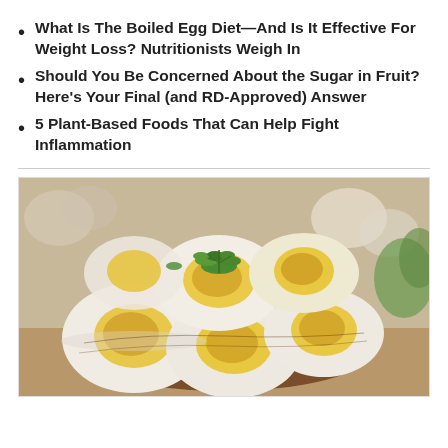What Is The Boiled Egg Diet—And Is It Effective For Weight Loss? Nutritionists Weigh In
Should You Be Concerned About the Sugar in Fruit? Here's Your Final (and RD-Approved) Answer
5 Plant-Based Foods That Can Help Fight Inflammation
[Figure (photo): Photo of halved hard-boiled eggs with yellow yolks arranged in a wooden bowl, garnished with green herbs (cilantro/parsley), with whole eggs and green vegetables visible in the blurred background.]